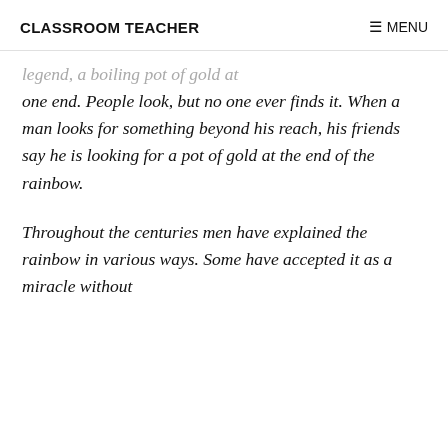CLASSROOM TEACHER   ☰ MENU
legend, a boiling pot of gold at one end. People look, but no one ever finds it. When a man looks for something beyond his reach, his friends say he is looking for a pot of gold at the end of the rainbow.
Throughout the centuries men have explained the rainbow in various ways. Some have accepted it as a miracle without